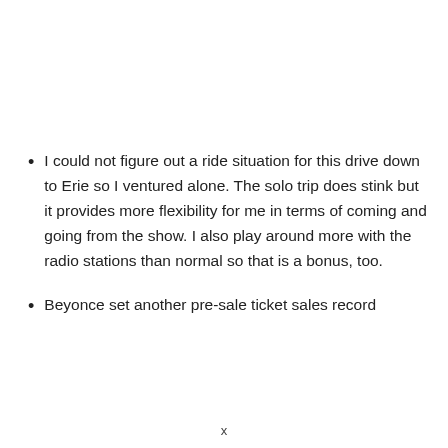I could not figure out a ride situation for this drive down to Erie so I ventured alone. The solo trip does stink but it provides more flexibility for me in terms of coming and going from the show. I also play around more with the radio stations than normal so that is a bonus, too.
Beyonce set another pre-sale ticket sales record